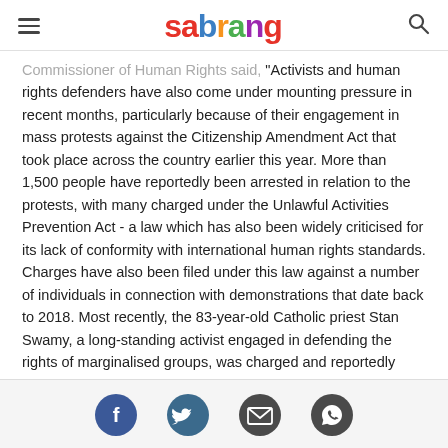sabrang
Commissioner of Human Rights said, "Activists and human rights defenders have also come under mounting pressure in recent months, particularly because of their engagement in mass protests against the Citizenship Amendment Act that took place across the country earlier this year. More than 1,500 people have reportedly been arrested in relation to the protests, with many charged under the Unlawful Activities Prevention Act - a law which has also been widely criticised for its lack of conformity with international human rights standards. Charges have also been filed under this law against a number of individuals in connection with demonstrations that date back to 2018. Most recently, the 83-year-old Catholic priest Stan Swamy, a long-standing activist engaged in defending the rights of marginalised groups, was charged and reportedly remains in detention, despite his poor health."
Social share icons: Facebook, Twitter, Email, WhatsApp